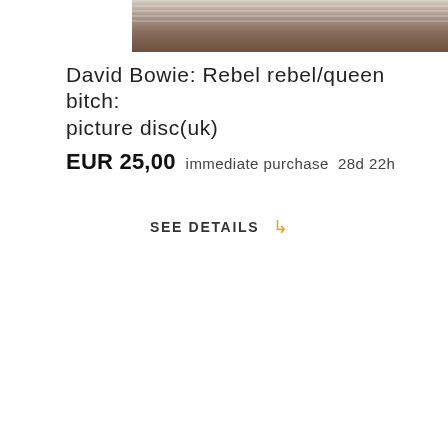[Figure (photo): Top portion of a photograph showing a wooden surface with a white textured cloth or paper object on top, cropped at the bottom of the image area.]
David Bowie: Rebel rebel/queen bitch: picture disc(uk)
EUR 25,00  immediate purchase  28d 22h
SEE DETAILS
[Figure (photo): David Bowie album picture disc showing the 40th Anniversary Edition of Alabama Song. The left portion shows the album cover with dark blue background, 'DAVID BOWIE' in large bold light blue text, and 'ALABAMA SONG' below. The right portion shows the circular picture disc with a close-up photograph of young David Bowie's face looking intensely at the camera.]